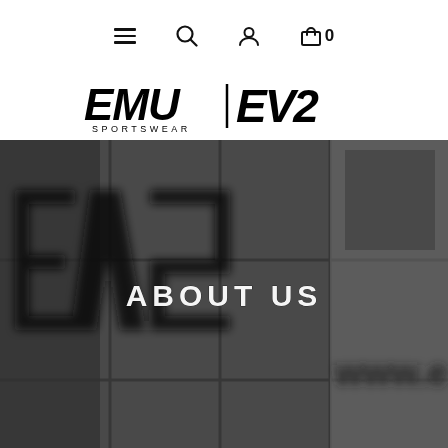Navigation bar with menu, search, user, and cart (0) icons
[Figure (logo): EMU Sportswear | EV2 logo in black on white background]
[Figure (photo): Grayscale hero image showing blurred EV2 branded building/display panels with 'ABOUT US' text overlay in white bold capital letters, and partial 'www.e...' URL visible on right side]